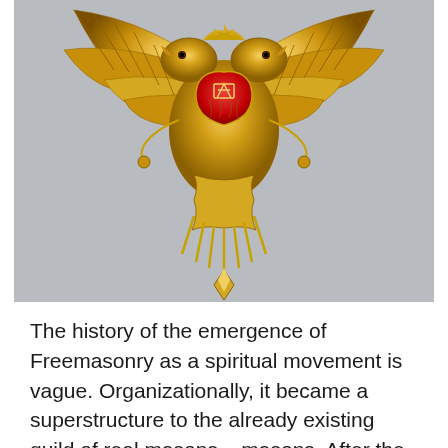[Figure (photo): A gold-colored Masonic double-headed eagle ornament/medallion with a red enamel shield bearing the square and compass symbol at the chest, with spread wings and decorative elements including tassels and rays at the bottom.]
The history of the emergence of Freemasonry as a spiritual movement is vague. Organizationally, it became a superstructure to the already existing guild of real masons – masons. After the appearance of the lodges, a division arose: “working freemasons” and “non-working”. The first were called “comrades” or “brothers”. In an intricate way, the first of these nicknames turned out to be in demand by the creators